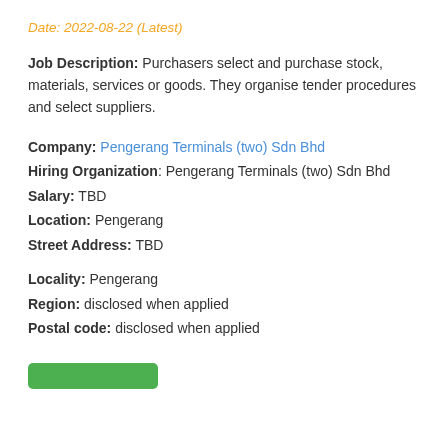Date: 2022-08-22 (Latest)
Job Description: Purchasers select and purchase stock, materials, services or goods. They organise tender procedures and select suppliers.
Company: Pengerang Terminals (two) Sdn Bhd
Hiring Organization: Pengerang Terminals (two) Sdn Bhd
Salary: TBD
Location: Pengerang
Street Address: TBD
Locality: Pengerang
Region: disclosed when applied
Postal code: disclosed when applied
[Figure (other): Green button (partially visible)]